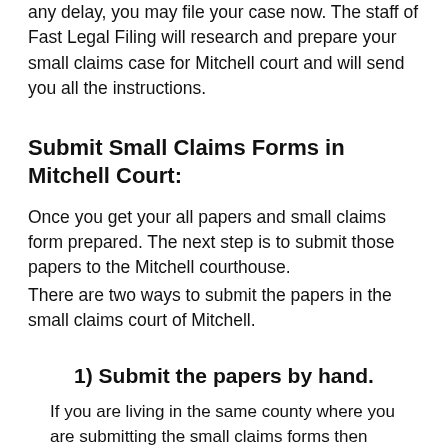any delay, you may file your case now. The staff of Fast Legal Filing will research and prepare your small claims case for Mitchell court and will send you all the instructions.
Submit Small Claims Forms in Mitchell Court:
Once you get your all papers and small claims form prepared. The next step is to submit those papers to the Mitchell courthouse.
There are two ways to submit the papers in the small claims court of Mitchell.
1) Submit the papers by hand.
If you are living in the same county where you are submitting the small claims forms then you should take the documents and submit them by hand. It is the fastest way to get the trial date. The court clerk will stamp your document and give